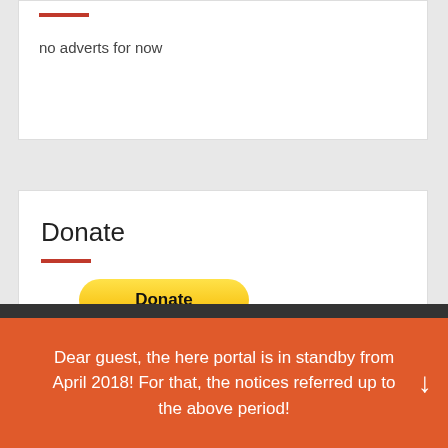no adverts for now
Donate
[Figure (other): PayPal Donate button with payment card logos (Visa, MasterCard, Maestro, American Express, Discover, UnionPay)]
Dear guest, the here portal is in standby from April 2018! For that, the notices referred up to the above period!